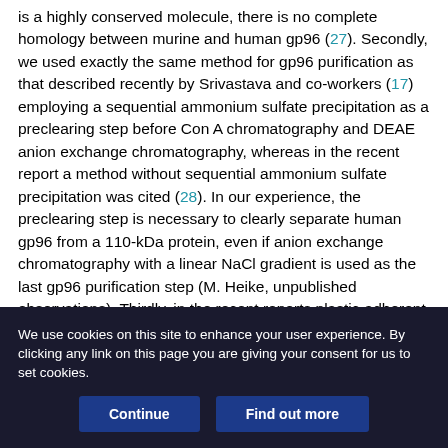is a highly conserved molecule, there is no complete homology between murine and human gp96 (27). Secondly, we used exactly the same method for gp96 purification as that described recently by Srivastava and co-workers (17) employing a sequential ammonium sulfate precipitation as a preclearing step before Con A chromatography and DEAE anion exchange chromatography, whereas in the recent report a method without sequential ammonium sulfate precipitation was cited (28). In our experience, the preclearing step is necessary to clearly separate human gp96 from a 110-kDa protein, even if anion exchange chromatography with a linear NaCl gradient is used as the last gp96 purification step (M. Heike, unpublished observations). Thirdly, in the recent reports plastic-adherent PBMC were used as a start-up population for the DC cultures (11), which contain monocytes and
We use cookies on this site to enhance your user experience. By clicking any link on this page you are giving your consent for us to set cookies.